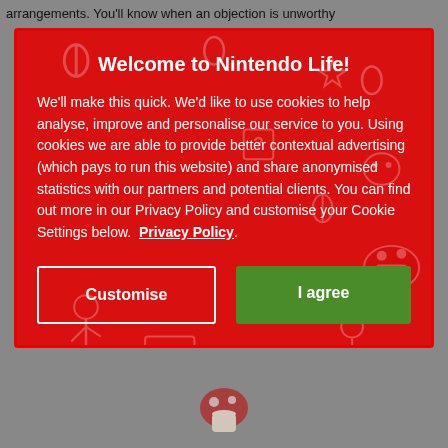arrangements. You'll know when an objection is unworthy
Welcome to Nintendo Life!
We'll make this quick. We'd like to use cookies to help analyse, improve and personalise our service to you. Using cookies we are able to provide better contextual advertising (which pays to run this website) and share anonymised statistics with our partners and potential clients. You can find out more in our Privacy Policy and customise your Cookie Settings below.  Privacy Policy.
Customise
I agree